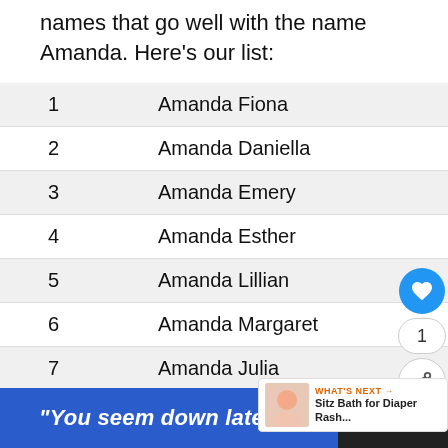We've pulled together the best girl's names that go well with the name Amanda. Here's our list:
1   Amanda Fiona
2   Amanda Daniella
3   Amanda Emery
4   Amanda Esther
5   Amanda Lillian
6   Amanda Margaret
7   Amanda Julia
8   Amanda Esme
9   Amanda Serenity
"You seem down lately."